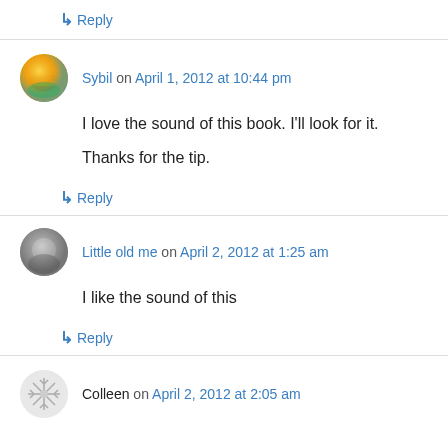↳ Reply
Sybil on April 1, 2012 at 10:44 pm
I love the sound of this book. I'll look for it.

Thanks for the tip.
↳ Reply
Little old me on April 2, 2012 at 1:25 am
I like the sound of this
↳ Reply
Colleen on April 2, 2012 at 2:05 am